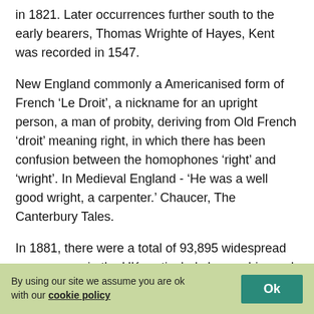in 1821. Later occurrences further south to the early bearers, Thomas Wrighte of Hayes, Kent was recorded in 1547.
New England commonly a Americanised form of French ‘Le Droit’, a nickname for an upright person, a man of probity, deriving from Old French ‘droit’ meaning right, in which there has been confusion between the homophones ‘right’ and ‘wright’. In Medieval England - ‘He was a well good wright, a carpenter.’ Chaucer, The Canterbury Tales.
In 1881, there were a total of 93,895 widespread occurrences in the UK particularly Lancashire and West Yorkshire. In the neighbouring county of Nottinghamshire, the frequency was 2,321 - a similar frequency to the southerly ... was recorded as 2,335.
The most occuring occupation for Wright surname in the
By using our site we assume you are ok with our cookie policy